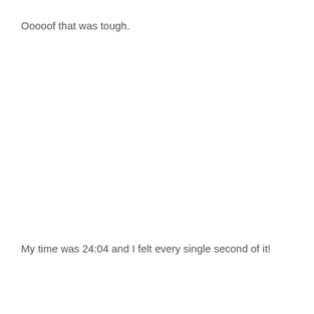Ooooof that was tough.
My time was 24:04 and I felt every single second of it!